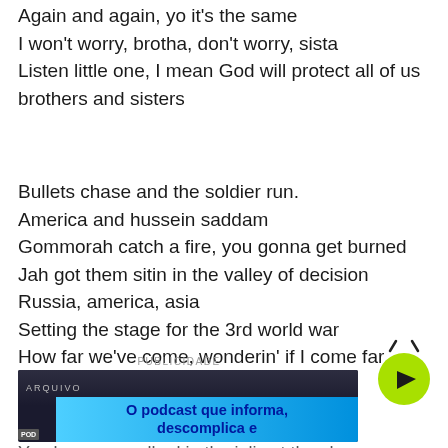Again and again, yo it's the same
I won't worry, brotha, don't worry, sista
Listen little one, I mean God will protect all of us brothers and sisters
Bullets chase and the soldier run.
America and hussein saddam
Gommorah catch a fire, you gonna get burned
Jah got them sitin in the valley of decision
Russia, america, asia
Setting the stage for the 3rd world war
How far we've come, wonderin' if I come far
If you end my world in chemical war
PUBLICIDADE
[Figure (screenshot): Advertisement banner showing a podcast promo with dark background TV footage and blue overlay text reading 'O podcast que informa, descomplica e' with a yellow-green play button]
You know ye walked in the inliv at the cha...